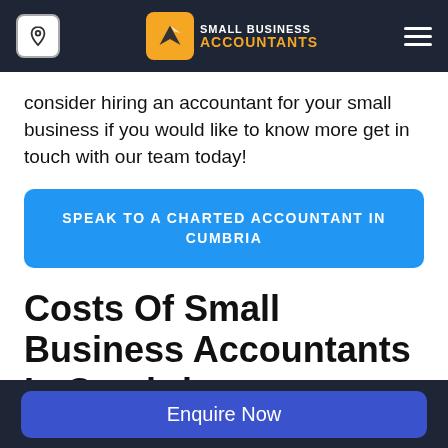Small Business Accountants — navigation header
consider hiring an accountant for your small business if you would like to know more get in touch with our team today!
SPEAK TO A CHARTED ACCOUNTANT IN CUMBRIA
Costs Of Small Business Accountants In Cumbria
The cost of Small business accountant charges in Cumbria starts from £17.95
Enquire Now